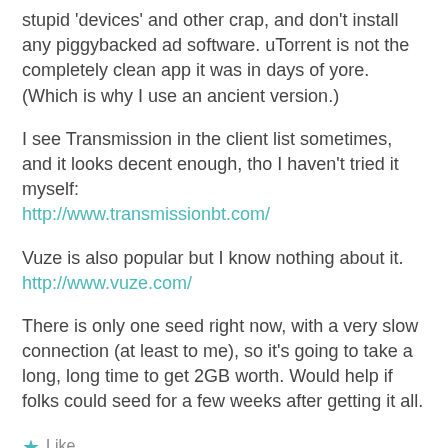stupid 'devices' and other crap, and don't install any piggybacked ad software. uTorrent is not the completely clean app it was in days of yore. (Which is why I use an ancient version.)
I see Transmission in the client list sometimes, and it looks decent enough, tho I haven't tried it myself: http://www.transmissionbt.com/
Vuze is also popular but I know nothing about it. http://www.vuze.com/
There is only one seed right now, with a very slow connection (at least to me), so it's going to take a long, long time to get 2GB worth. Would help if folks could seed for a few weeks after getting it all.
Like